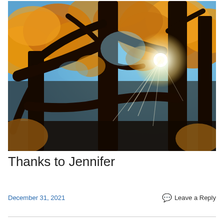[Figure (photo): Upward-looking photograph of autumn trees with golden-orange foliage and dark silhouetted trunks and branches against a blue sky, with bright sunlight rays bursting through the upper-right area of the canopy.]
Thanks to Jennifer
December 31, 2021
Leave a Reply